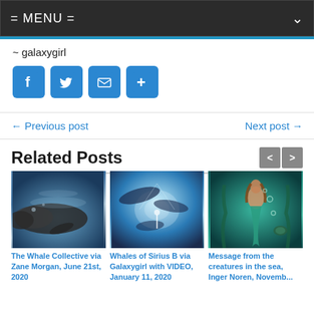= MENU =
~ galaxygirl
[Figure (other): Social media share buttons: Facebook, Twitter, Email, and More (+)]
← Previous post    Next post →
Related Posts
[Figure (photo): Underwater photo of a large whale (humpback) swimming in blue ocean]
The Whale Collective via Zane Morgan, June 21st, 2020
[Figure (photo): Fantasy illustration of whales and a person in a glowing underwater scene]
Whales of Sirius B via Galaxygirl with VIDEO, January 11, 2020
[Figure (photo): Fantasy illustration of a mermaid swimming underwater with sea creatures]
Message from the creatures in the sea, Inger Noren, Novemb...